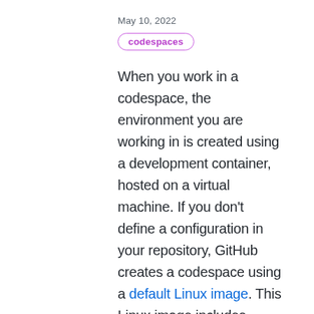May 10, 2022
codespaces
When you work in a codespace, the environment you are working in is created using a development container, hosted on a virtual machine. If you don't define a configuration in your repository, GitHub creates a codespace using a default Linux image. This Linux image includes common languages and runtimes such as Python, Node.js, JavaScript, TypeScript etc. to help you get started with an environment that you can further customize or use as is based on your team's needs.
See more